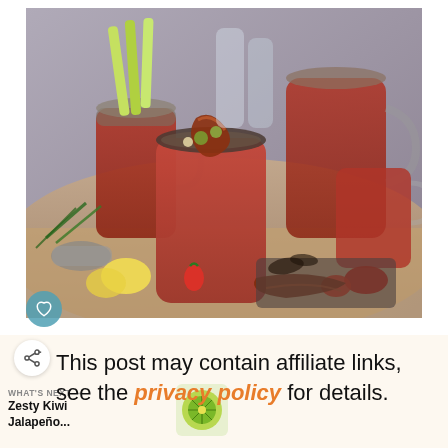[Figure (photo): Photo of Bloody Mary cocktails in mason jars with celery, bacon, olives garnishes, surrounded by peppers, lemon, herbs and various condiments on a rustic surface.]
This post may contain affiliate links, see the privacy policy for details.